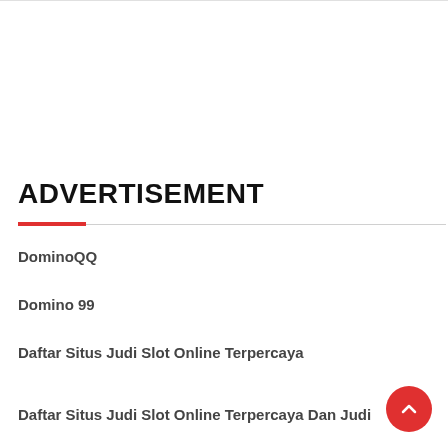ADVERTISEMENT
DominoQQ
Domino 99
Daftar Situs Judi Slot Online Terpercaya
Daftar Situs Judi Slot Online Terpercaya Dan Judi